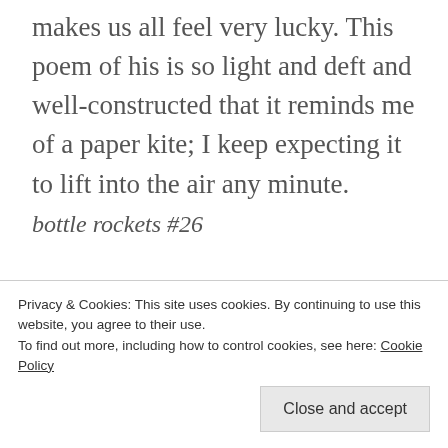makes us all feel very lucky. This poem of his is so light and deft and well-constructed that it reminds me of a paper kite; I keep expecting it to lift into the air any minute.
bottle rockets #26
pinwheel —
as if a second thought
Privacy & Cookies: This site uses cookies. By continuing to use this website, you agree to their use.
To find out more, including how to control cookies, see here: Cookie Policy
Close and accept